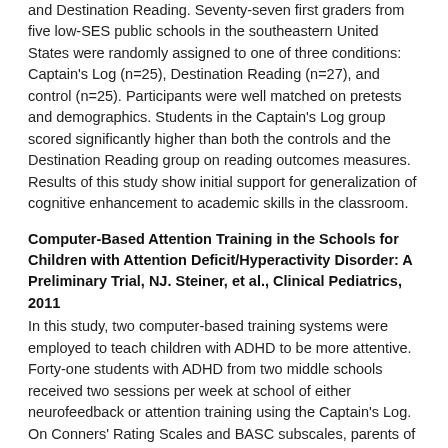and Destination Reading. Seventy-seven first graders from five low-SES public schools in the southeastern United States were randomly assigned to one of three conditions: Captain's Log (n=25), Destination Reading (n=27), and control (n=25). Participants were well matched on pretests and demographics. Students in the Captain's Log group scored significantly higher than both the controls and the Destination Reading group on reading outcomes measures. Results of this study show initial support for generalization of cognitive enhancement to academic skills in the classroom.
Computer-Based Attention Training in the Schools for Children with Attention Deficit/Hyperactivity Disorder: A Preliminary Trial, NJ. Steiner, et al., Clinical Pediatrics, 2011
In this study, two computer-based training systems were employed to teach children with ADHD to be more attentive. Forty-one students with ADHD from two middle schools received two sessions per week at school of either neurofeedback or attention training using the Captain's Log. On Conners' Rating Scales and BASC subscales, parents of students in both groups reported significant changes in behavior and attention.
A Randomized Trial of Two Promising Computer-Based Interventions for Students with Attention Difficulties, David L. Rabiner, et al. Journal of Abnormal Child Psychology, 2010.
This controlled study examined the impact of computerized